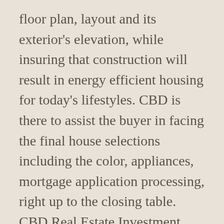floor plan, layout and its exterior's elevation, while insuring that construction will result in energy efficient housing for today's lifestyles. CBD is there to assist the buyer in facing the final house selections including the color, appliances, mortgage application processing, right up to the closing table. CBD Real Estate Investment will be there to assist you at all times. The trained sales staff force will help in making the experience of buying a home or piece of land an easy and fun adventure.